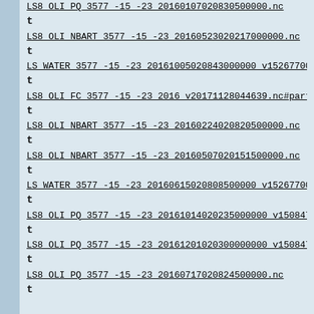LS8_OLI_PQ_3577_-15_-23_20160107020830500000.nc
t
LS8_OLI_NBART_3577_-15_-23_20160523020217000000.nc
t
LS_WATER_3577_-15_-23_20161005020843000000_v15267700
t
LS8_OLI_FC_3577_-15_-23_2016_v20171128044639.nc#part=6
t
LS8_OLI_NBART_3577_-15_-23_20160224020820500000.nc
t
LS8_OLI_NBART_3577_-15_-23_20160507020151500000.nc
t
LS_WATER_3577_-15_-23_20160615020808500000_v15267700
t
LS8_OLI_PQ_3577_-15_-23_20161014020235000000_v150847
t
LS8_OLI_PQ_3577_-15_-23_20161201020300000000_v150847
t
LS8_OLI_PQ_3577_-15_-23_20160717020824500000.nc
t